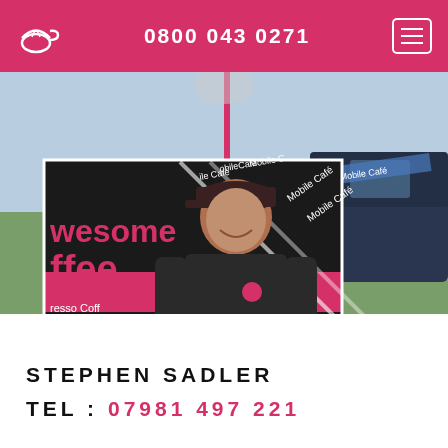0800 043 0271
[Figure (photo): Mobile café branded vans parked outdoors on grass, with a man in dark t-shirt and cap smiling in front of a black and pink branded van showing text 'Awesome Coffee', 'Espresso Coffee', 'Tasty Food', 'Mobile Café']
STEPHEN SADLER
TEL: 07981 497 221